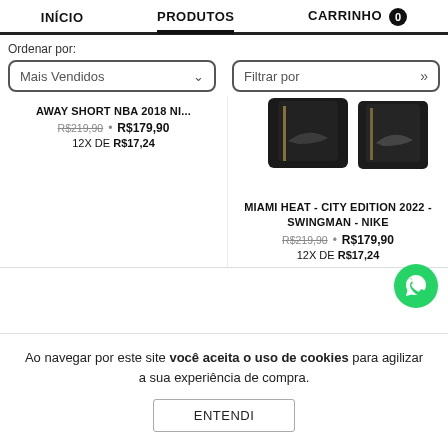INÍCIO   PRODUTOS   CARRINHO 0
Ordenar por:
Mais Vendidos
Filtrar por
AWAY SHORT NBA 2018 NI...
R$219,90 • R$179,90
12X DE R$17,24
[Figure (photo): Miami Heat jersey product image, dark background]
MIAMI HEAT - CITY EDITION 2022 - SWINGMAN - NIKE
R$219,90 • R$179,90
12X DE R$17,24
Ao navegar por este site você aceita o uso de cookies para agilizar a sua experiência de compra.
ENTENDI